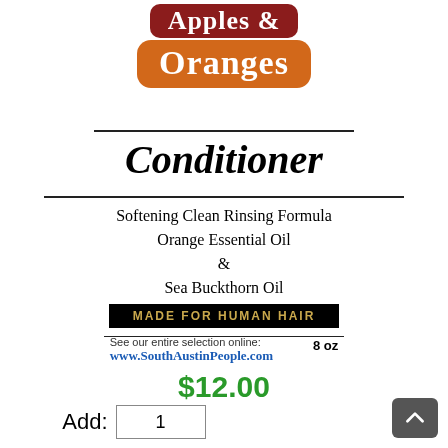[Figure (logo): Apples & Oranges brand logo with red banner for 'Apples &' and orange rounded rectangle for 'Oranges']
Conditioner
Softening Clean Rinsing Formula
Orange Essential Oil
&
Sea Buckthorn Oil
MADE FOR HUMAN HAIR
See our entire selection online: www.SouthAustinPeople.com   8 oz
$12.00
Add: 1